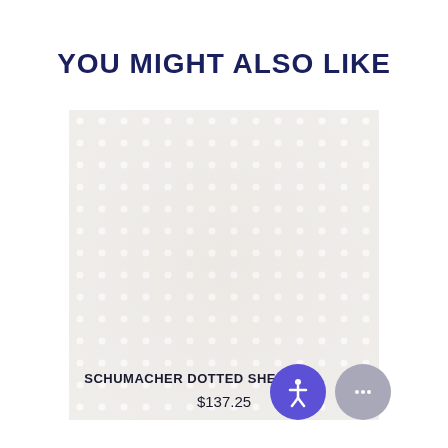YOU MIGHT ALSO LIKE
[Figure (photo): A square fabric swatch showing Schumacher Dotted Sheer fabric in white/off-white with a subtle dot pattern]
SCHUMACHER DOTTED SHEER AB
$137.25